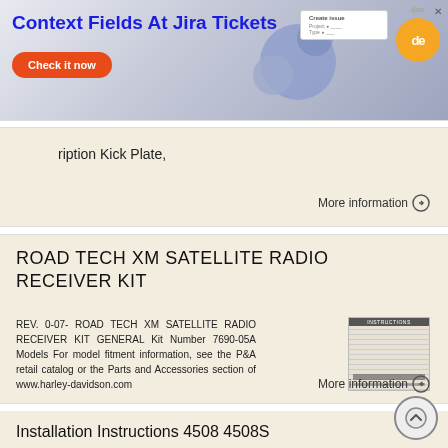[Figure (screenshot): Advertisement banner: 'Context Fields At Jira Tickets' with 'Check it now' orange button, globe imagery, and orange logo circle]
ription Kick Plate,
More information →
ROAD TECH XM SATELLITE RADIO RECEIVER KIT
REV. 0-07- ROAD TECH XM SATELLITE RADIO RECEIVER KIT GENERAL Kit Number 7690-05A Models For model fitment information, see the P&A retail catalog or the Parts and Accessories section of www.harley-davidson.com
More information →
Installation Instructions 4508 4508S